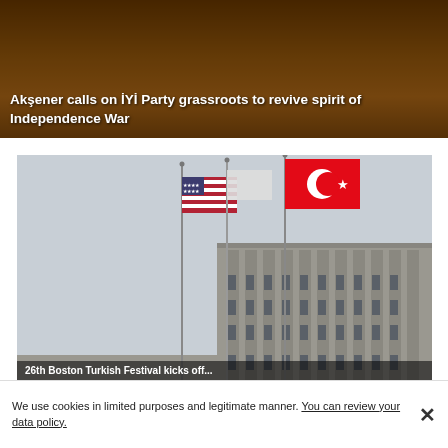[Figure (photo): News article thumbnail with dark brownish-gold background showing blurred figures, with white bold headline text overlay: 'Akşener calls on İYİ Party grassroots to revive spirit of Independence War']
Akşener calls on İYİ Party grassroots to revive spirit of Independence War
[Figure (photo): Photograph of a government building with three flagpoles flying the American flag, a white flag, and the Turkish flag (red with white crescent and star), against a grey overcast sky. The building has a brutalist concrete facade with repeating rectangular windows.]
26th Boston Turkish Festival kicks off...
We use cookies in limited purposes and legitimate manner. You can review your data policy.